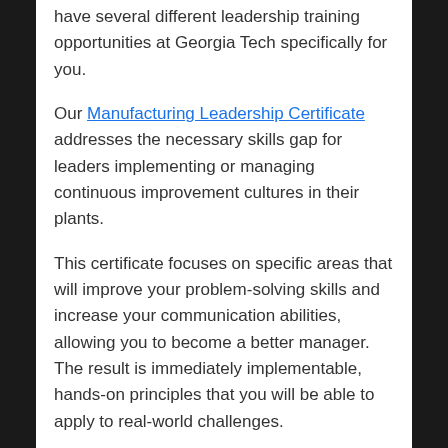have several different leadership training opportunities at Georgia Tech specifically for you.
Our Manufacturing Leadership Certificate addresses the necessary skills gap for leaders implementing or managing continuous improvement cultures in their plants.
This certificate focuses on specific areas that will improve your problem-solving skills and increase your communication abilities, allowing you to become a better manager. The result is immediately implementable, hands-on principles that you will be able to apply to real-world challenges.